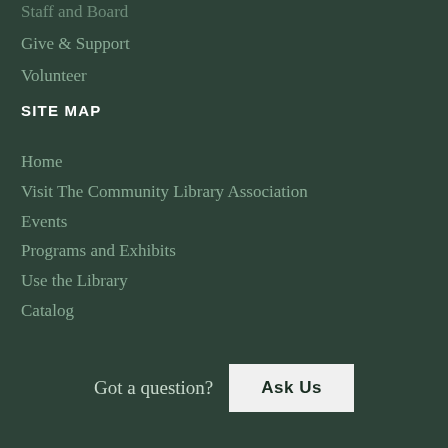Staff and Board
Give & Support
Volunteer
SITE MAP
Home
Visit The Community Library Association
Events
Programs and Exhibits
Use the Library
Catalog
Got a question?
Ask Us